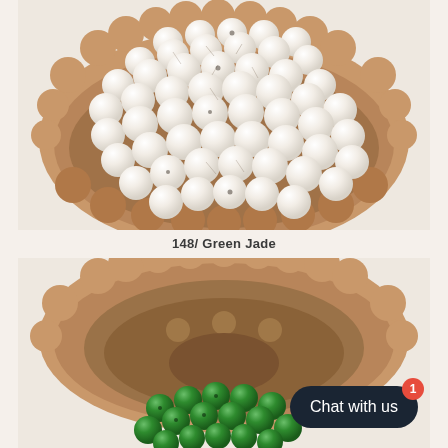[Figure (photo): Top-down view of white marbled beads piled in a gold/bronze scalloped decorative dish on a cream background]
148/ Green Jade
[Figure (photo): Green jade beads in a gold/bronze scalloped decorative dish, with a dark chat bubble overlay reading 'Chat with us' and a red badge showing '1']